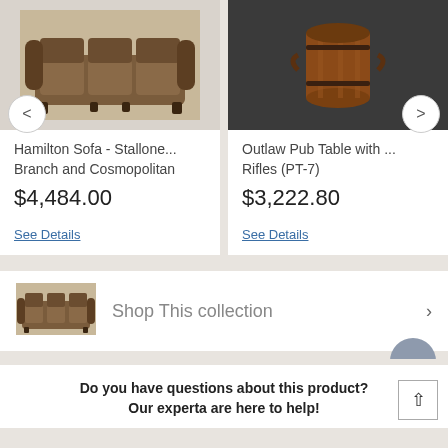[Figure (photo): Brown fabric Hamilton sofa product image]
Hamilton Sofa - Stallone... Branch and Cosmopolitan
$4,484.00
See Details
[Figure (photo): Outlaw wooden barrel pub table product image]
Outlaw Pub Table with ... Rifles (PT-7)
$3,222.80
See Details
[Figure (photo): Small brown sofa thumbnail for collection banner]
Shop This collection
Do you have questions about this product? Our experta are here to help!